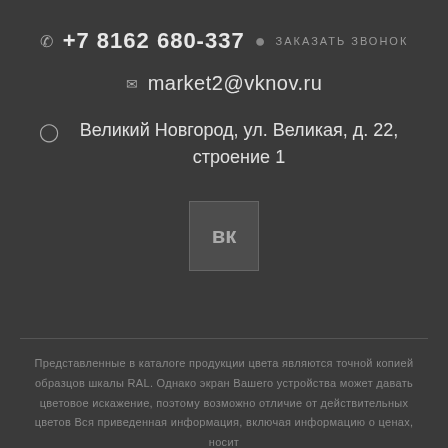+7 8162 680-337 · ЗАКАЗАТЬ ЗВОНОК
market2@vknov.ru
Великий Новгород, ул. Великая, д. 22, строение 1
[Figure (logo): VK social network icon button — dark grey square with 'VK' letters]
Представленные в каталоге продукции цвета являются точной копией образцов шкалы RAL. Однако экран Вашего устройства может давать цветовое искажение, поэтому возможно отличие от действительных цветов Вся приведенная информация, включая информацию о ценах, носит